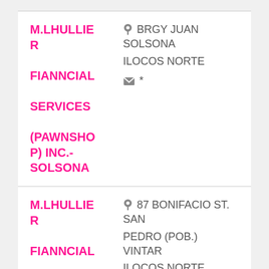M.LHULLIER FIANNCIAL SERVICES (PAWNSHOP) INC.- SOLSONA
BRGY JUAN SOLSONA ILOCOS NORTE
* (email)
M.LHULLIER FIANNCIAL SERVICES
87 BONIFACIO ST. SAN PEDRO (POB.) VINTAR ILOCOS NORTE QUEZON
0997393502